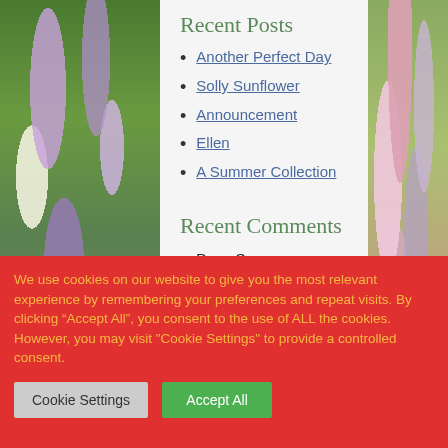[Figure (photo): Background flower garden photos on left and right sides of the page]
Recent Posts
Another Perfect Day
Solly Sunflower
Announcement
Ellen
A Summer Collection
Recent Comments
Dave S on Announcement
Phil Barnett on Solly Sunflower
We use cookies on our website to give you the most relevant experience by remembering your preferences and repeat visits. By clicking “Accept All”, you consent to the use of ALL the cookies. However, you may visit "Cookie Settings" to provide a controlled consent.